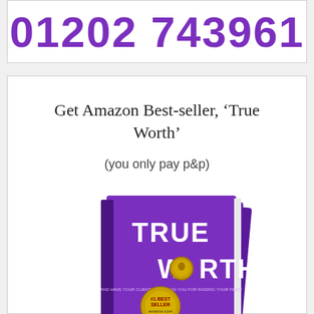01202 743961
Get Amazon Best-seller, ‘True Worth’
(you only pay p&p)
[Figure (photo): Photo of the book 'True Worth' by Vanessa Ugatti, The True Worth Expert, shown as a stack of purple books with a gold Amazon #1 Best Seller badge on the cover.]